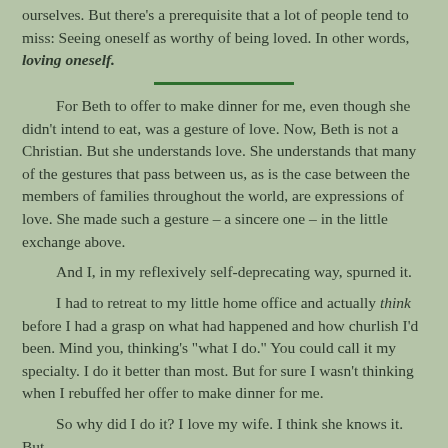ourselves. But there's a prerequisite that a lot of people tend to miss: Seeing oneself as worthy of being loved. In other words, loving oneself.
For Beth to offer to make dinner for me, even though she didn't intend to eat, was a gesture of love. Now, Beth is not a Christian. But she understands love. She understands that many of the gestures that pass between us, as is the case between the members of families throughout the world, are expressions of love. She made such a gesture – a sincere one – in the little exchange above.
And I, in my reflexively self-deprecating way, spurned it.
I had to retreat to my little home office and actually think before I had a grasp on what had happened and how churlish I'd been. Mind you, thinking's "what I do." You could call it my specialty. I do it better than most. But for sure I wasn't thinking when I rebuffed her offer to make dinner for me.
So why did I do it? I love my wife. I think she knows it. But for sure, not the self-forgetting, love oneself. That result is...